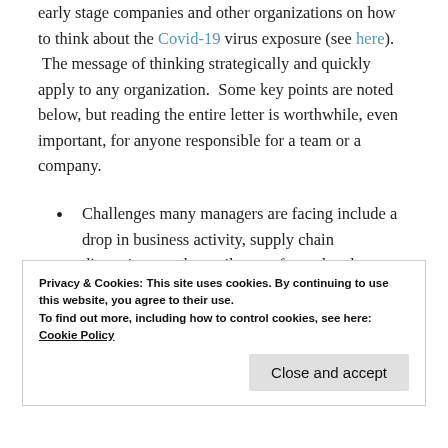early stage companies and other organizations on how to think about the Covid-19 virus exposure (see here). The message of thinking strategically and quickly apply to any organization. Some key points are noted below, but reading the entire letter is worthwhile, even important, for anyone responsible for a team or a company.
Challenges many managers are facing include a drop in business activity, supply chain disruptions, and curtailment of travel and meetings.
Privacy & Cookies: This site uses cookies. By continuing to use this website, you agree to their use. To find out more, including how to control cookies, see here: Cookie Policy